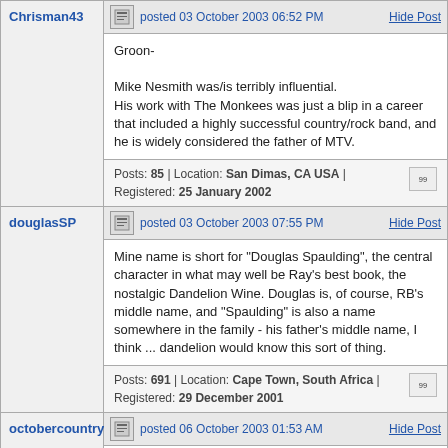Chrisman43
posted 03 October 2003 06:52 PM
Hide Post
Groon-

Mike Nesmith was/is terribly influential. His work with The Monkees was just a blip in a career that included a highly successful country/rock band, and he is widely considered the father of MTV.
Posts: 85 | Location: San Dimas, CA USA | Registered: 25 January 2002
douglasSP
posted 03 October 2003 07:55 PM
Hide Post
Mine name is short for "Douglas Spaulding", the central character in what may well be Ray's best book, the nostalgic Dandelion Wine. Douglas is, of course, RB's middle name, and "Spaulding" is also a name somewhere in the family - his father's middle name, I think ... dandelion would know this sort of thing.
Posts: 691 | Location: Cape Town, South Africa | Registered: 29 December 2001
octobercountry
posted 06 October 2003 01:53 AM
Hide Post
Ah, it's pretty obvious where my username